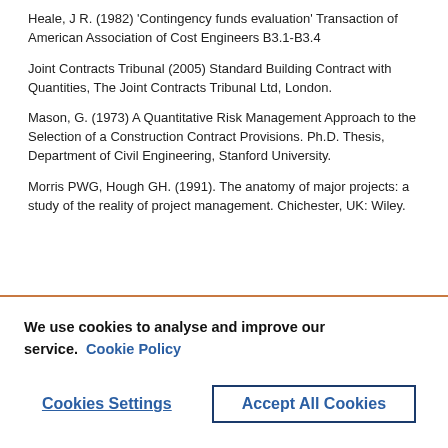Heale, J R. (1982) 'Contingency funds evaluation' Transaction of American Association of Cost Engineers B3.1-B3.4
Joint Contracts Tribunal (2005) Standard Building Contract with Quantities, The Joint Contracts Tribunal Ltd, London.
Mason, G. (1973) A Quantitative Risk Management Approach to the Selection of a Construction Contract Provisions. Ph.D. Thesis, Department of Civil Engineering, Stanford University.
Morris PWG, Hough GH. (1991). The anatomy of major projects: a study of the reality of project management. Chichester, UK: Wiley.
We use cookies to analyse and improve our service. Cookie Policy
Cookies Settings
Accept All Cookies